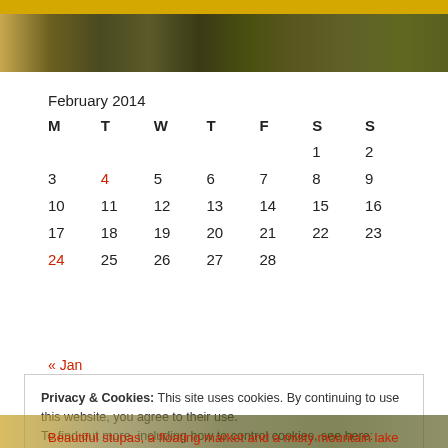[Figure (photo): Top decorative image strip with golden/brown tones, partial animal or nature photo]
February 2014
| M | T | W | T | F | S | S |
| --- | --- | --- | --- | --- | --- | --- |
|  |  |  |  |  | 1 | 2 |
| 3 | 4 | 5 | 6 | 7 | 8 | 9 |
| 10 | 11 | 12 | 13 | 14 | 15 | 16 |
| 17 | 18 | 19 | 20 | 21 | 22 | 23 |
| 24 | 25 | 26 | 27 | 28 |  |  |
« Jan
Privacy & Cookies: This site uses cookies. By continuing to use this website, you agree to their use.
To find out more, including how to control cookies, see here: Cookie Policy
Close and accept
Beautiful stupas, a floating market and a misty mountain lake